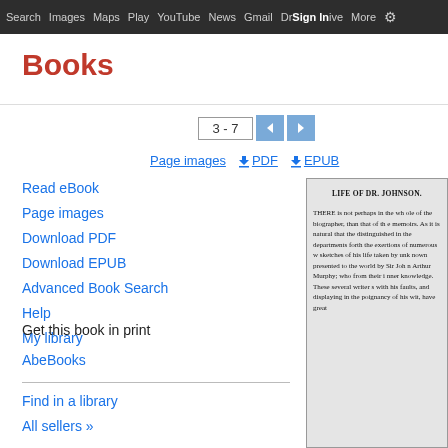Search  Images  Maps  Play  YouTube  News  Gmail  Drive  More  Sign in  Settings
Books
3 - 7
Page images
PDF
EPUB
Read eBook
Page images
Download PDF
Download EPUB
Advanced Book Search
Help
My library
Get this book in print
AbeBooks
Find in a library
All sellers »
[Figure (screenshot): Scanned book page showing 'LIFE OF DR. JOHNSON.' title and opening paragraph text beginning 'THERE is not perhaps in the wh... of the biographer, than that of th... memoirs. As it is natural that the... distinguished in the departments... forth the exertions of numerous... sketches of his life taken by unk... presented to the world by Sir Joh... Arthur Murphy; who from their... knowledge. These several writer... with his faults, and displaying in... poignancy of his wit, have great...']